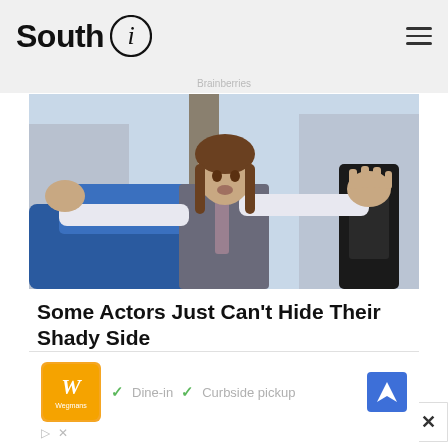South i
Brainberries
[Figure (photo): Man in grey vest and white shirt with arms spread wide, standing near a blue car door, outdoor urban background]
Some Actors Just Can't Hide Their Shady Side
Brainberries
[Figure (other): Advertisement banner with Wegmans logo, checkmarks for Dine-in and Curbside pickup, blue navigation arrow icon, play and close controls]